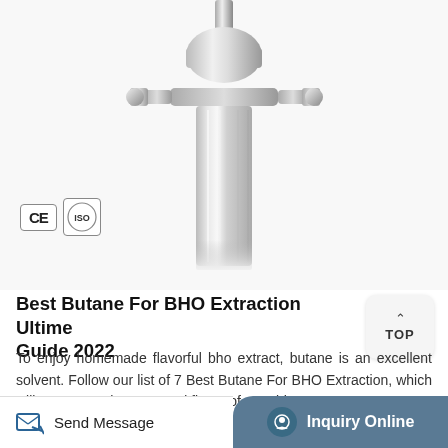[Figure (photo): Stainless steel BHO extraction equipment, showing a cylindrical tube with a clamp fitting, chrome/polished steel surface, CE and ISO certification badges visible in lower left]
Best Butane For BHO Extraction Ultimate Guide 2022
To enjoy homemade flavorful bho extract, butane is an excellent solvent. Follow our list of 7 Best Butane For BHO Extraction, which will guarantee the taste and flavor of your bho concentrate.
Learn More
Send Message    Inquiry Online